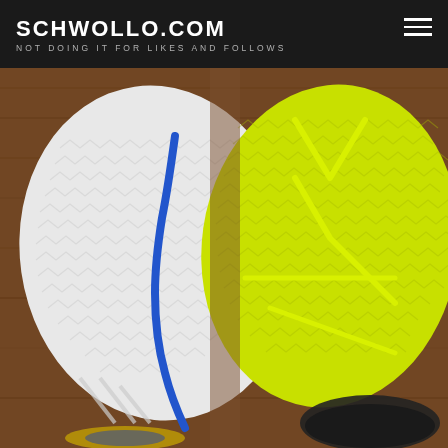SCHWOLLO.COM — NOT DOING IT FOR LIKES AND FOLLOWS
[Figure (photo): Bottom/sole view of two basketball shoes side by side on a wooden surface. Left shoe has a white rubber outsole with herringbone traction pattern and a blue Swoosh logo stripe. Right shoe has a neon yellow-green rubber outsole with a similar herringbone/geometric traction pattern and lighter yellow-green geometric stripe details.]